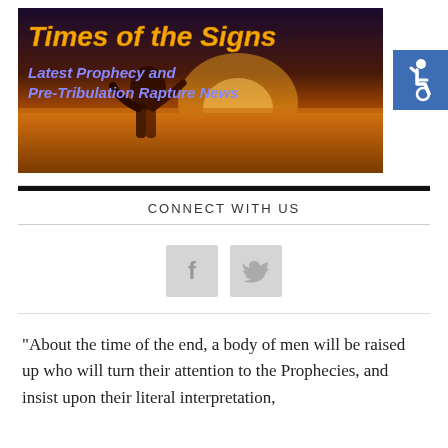[Figure (illustration): Website banner for 'Times of the Signs' showing a person running in a golden wheat field at sunset. Text reads 'Times of the Signs' in orange bold italic, and 'Latest Prophecy and Pre-Tribulation Rapture News' in blue bold italic.]
[Figure (logo): Blue accessibility icon box with wheelchair symbol in white.]
CONNECT WITH US
[Figure (infographic): Two social media icon boxes: Facebook (f) and Twitter (bird) in grey square boxes.]
"About the time of the end, a body of men will be raised up who will turn their attention to the Prophecies, and insist upon their literal interpretation,